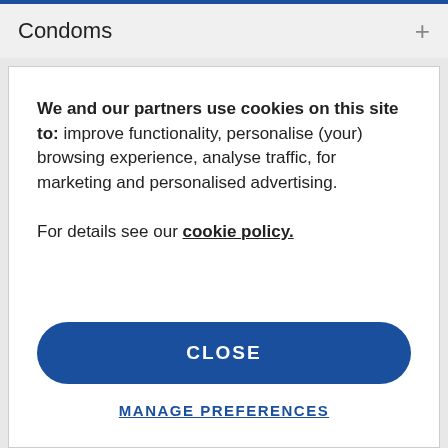Condoms  +
We and our partners use cookies on this site to: improve functionality, personalise (your) browsing experience, analyse traffic, for marketing and personalised advertising.
For details see our cookie policy.
CLOSE
MANAGE PREFERENCES